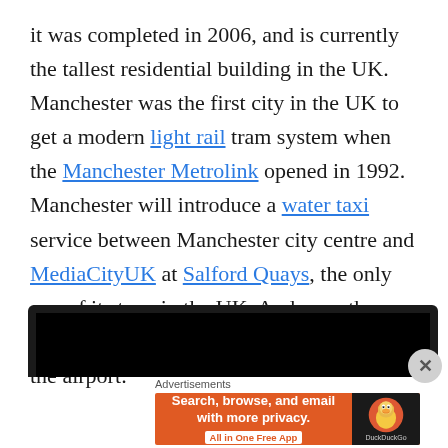it was completed in 2006, and is currently the tallest residential building in the UK. Manchester was the first city in the UK to get a modern light rail tram system when the Manchester Metrolink opened in 1992. Manchester will introduce a water taxi service between Manchester city centre and MediaCityUK at Salford Quays, the only one of its type in the UK. And now, they are building an Airport city, right next to the airport:
[Figure (screenshot): Partial screenshot of a video player embedded in a webpage, showing a dark/black video frame with a rounded dark bar at the top. A circular close button (×) appears at the bottom right.]
[Figure (screenshot): Advertisement banner for DuckDuckGo: orange background with white bold text 'Search, browse, and email with more privacy.' and a white pill button 'All in One Free App'. Right side shows DuckDuckGo duck logo on dark background with 'DuckDuckGo' text.]